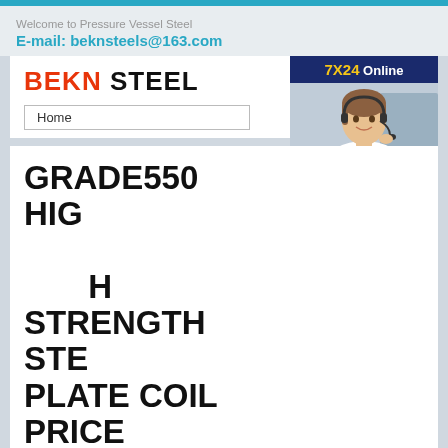Welcome to Pressure Vessel Steel
E-mail: beknsteels@163.com
[Figure (logo): BEKN STEEL logo with BEKN in red and STEEL in black, large bold text]
Home
[Figure (infographic): 7X24 Online chat widget with customer service representative photo and Hello,may I help you? message and Get Latest Price button]
GRADE550 HIGH STRENGTH STEEL PLATE COIL PRICE
Home > SA516 Steel > Grade550 High Strength Steel Plate Coil Price
[Figure (photo): Steel plates or coils stacked, dark metallic striped image at bottom of page]